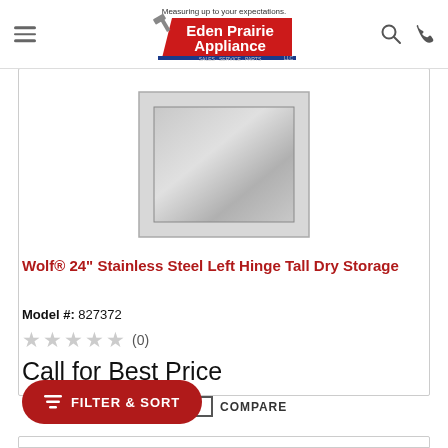[Figure (logo): Eden Prairie Appliance logo with tagline 'Measuring up to your expectations.' and hammer icon]
[Figure (photo): Wolf stainless steel tall dry storage unit product image, front view showing stainless steel door panel]
Wolf® 24" Stainless Steel Left Hinge Tall Dry Storage
Model #: 827372
★★★★★ (0)
Call for Best Price
COMPARE
FILTER & SORT